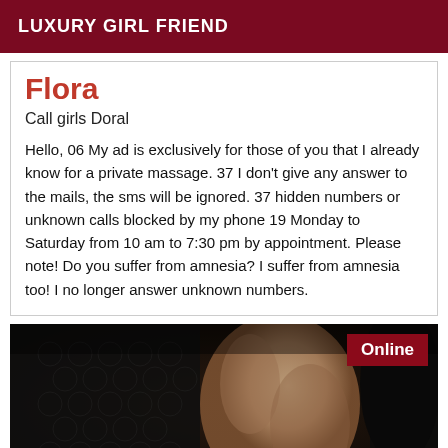LUXURY GIRL FRIEND
Flora
Call girls Doral
Hello, 06 My ad is exclusively for those of you that I already know for a private massage. 37 I don't give any answer to the mails, the sms will be ignored. 37 hidden numbers or unknown calls blocked by my phone 19 Monday to Saturday from 10 am to 7:30 pm by appointment. Please note! Do you suffer from amnesia? I suffer from amnesia too! I no longer answer unknown numbers.
[Figure (photo): Dark photograph showing lace fabric and skin, with an 'Online' badge in the top-right corner]